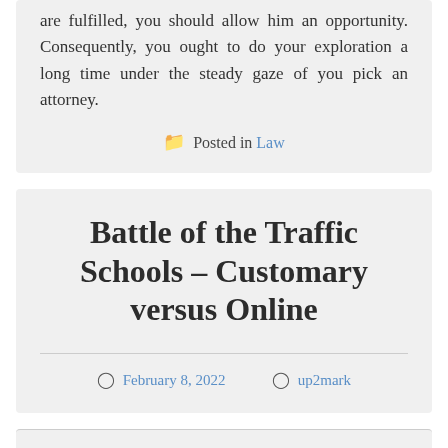are fulfilled, you should allow him an opportunity. Consequently, you ought to do your exploration a long time under the steady gaze of you pick an attorney.
Posted in Law
Battle of the Traffic Schools – Customary versus Online
February 8, 2022   up2mark
The expense of driving builds